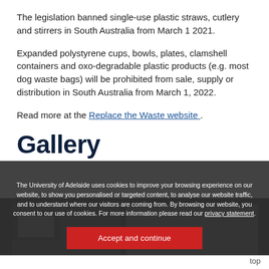The legislation banned single-use plastic straws, cutlery and stirrers in South Australia from March 1 2021.
Expanded polystyrene cups, bowls, plates, clamshell containers and oxo-degradable plastic products (e.g. most dog waste bags) will be prohibited from sale, supply or distribution in South Australia from March 1, 2022.
Read more at the Replace the Waste website .
Gallery
The University of Adelaide uses cookies to improve your browsing experience on our website, to show you personalised or targeted content, to analyse our website traffic, and to understand where our visitors are coming from. By browsing our website, you consent to our use of cookies. For more information please read our privacy statement.
[Figure (photo): Gallery image area partially visible behind cookie consent overlay]